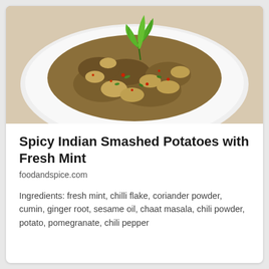[Figure (photo): A white plate with spicy Indian smashed potatoes garnished with fresh green mint leaves and red chilli flakes, photographed from above at a slight angle.]
Spicy Indian Smashed Potatoes with Fresh Mint
foodandspice.com
Ingredients: fresh mint, chilli flake, coriander powder, cumin, ginger root, sesame oil, chaat masala, chili powder, potato, pomegranate, chili pepper